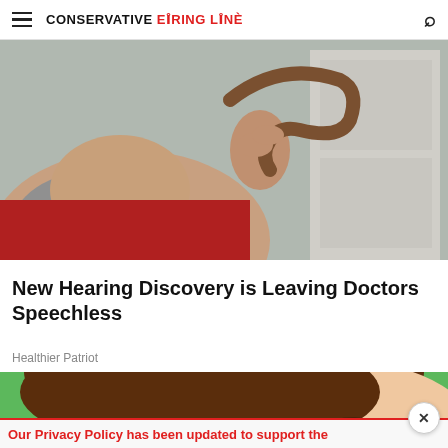CONSERVATIVE FIRING LINE
[Figure (photo): Close-up photo of a bearded man in a red shirt holding what appears to be a wooden hearing horn or similar curved instrument up to his ear]
New Hearing Discovery is Leaving Doctors Speechless
Healthier Patriot
[Figure (illustration): Cartoon illustration of a person with brown hair appearing to sleep or rest, shown against a green background]
Our Privacy Policy has been updated to support the